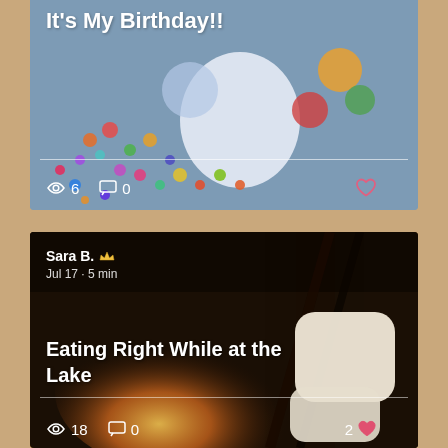[Figure (screenshot): Mobile app screenshot showing two blog post cards on a tan/beige phone background. Top card shows birthday balloon photo with title 'It's My Birthday!!' and stats: 6 views, 0 comments, heart icon. Bottom card shows campfire with marshmallows photo, author Sara B. with crown icon, Jul 17 · 5 min, title 'Eating Right While at the Lake', and stats: 18 views, 0 comments, 2 hearts.]